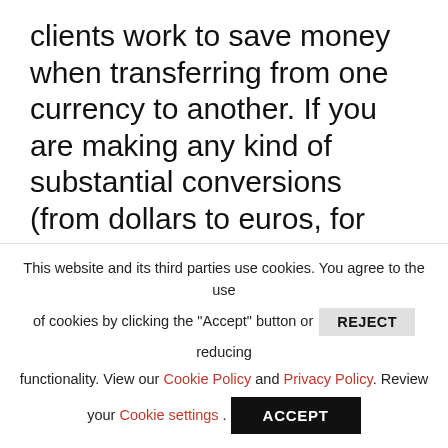clients work to save money when transferring from one currency to another. If you are making any kind of substantial conversions (from dollars to euros, for example) you will not want to automatically ask your bank to make the transfer, as it will surely cost you about twice what Moneycorp or our other currency brokers will offer. Visit our Global Money Services page for more information and be sure to tell them we sent you!http://www.adrianleeds.com/french
This website and its third parties use cookies. You agree to the use of cookies by clicking the "Accept" button or REJECT reducing functionality. View our Cookie Policy and Privacy Policy. Review your Cookie settings. ACCEPT